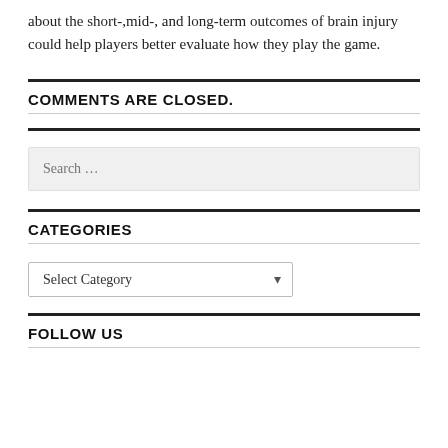about the short-,mid-, and long-term outcomes of brain injury could help players better evaluate how they play the game.
COMMENTS ARE CLOSED.
CATEGORIES
FOLLOW US